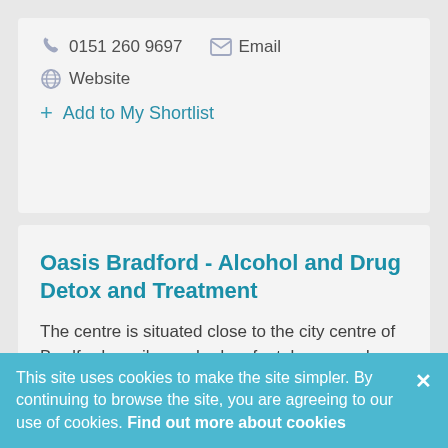0151 260 9697   Email
Website
+ Add to My Shortlist
Oasis Bradford - Alcohol and Drug Detox and Treatment
The centre is situated close to the city centre of Bradford, easily reached on foot, by car and public transport and being only
This site uses cookies to make the site simpler. By continuing to browse the site, you are agreeing to our use of cookies. Find out more about cookies